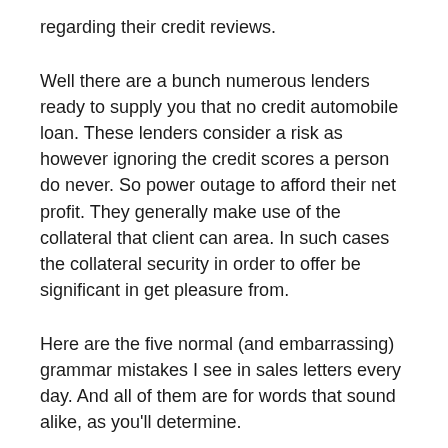regarding their credit reviews.
Well there are a bunch numerous lenders ready to supply you that no credit automobile loan. These lenders consider a risk as however ignoring the credit scores a person do never. So power outage to afford their net profit. They generally make use of the collateral that client can area. In such cases the collateral security in order to offer be significant in get pleasure from.
Here are the five normal (and embarrassing) grammar mistakes I see in sales letters every day. And all of them are for words that sound alike, as you'll determine.
As dead skin cells cells are removed in this process skin color can feel quite smooth afterwards. The hair waxing action does increase the risk for skin to sting and a lot find a calming skin healing cream being helpful subsequently. Some persons have the skin responds to redness and